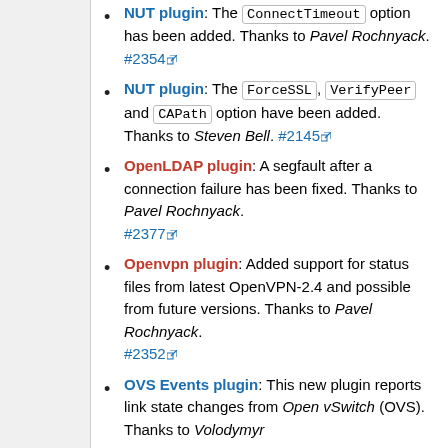NUT plugin: The ConnectTimeout option has been added. Thanks to Pavel Rochnyack. #2354
NUT plugin: The ForceSSL, VerifyPeer and CAPath option have been added. Thanks to Steven Bell. #2145
OpenLDAP plugin: A segfault after a connection failure has been fixed. Thanks to Pavel Rochnyack. #2377
Openvpn plugin: Added support for status files from latest OpenVPN-2.4 and possible from future versions. Thanks to Pavel Rochnyack. #2352
OVS Events plugin: This new plugin reports link state changes from Open vSwitch (OVS). Thanks to Volodymyr